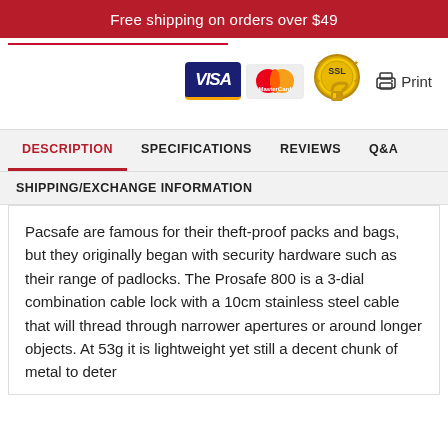Free shipping on orders over $49
[Figure (logo): Payment badges: VISA, MasterCard, SSL seal, and Print button]
DESCRIPTION   SPECIFICATIONS   REVIEWS   Q&A
SHIPPING/EXCHANGE INFORMATION
Pacsafe are famous for their theft-proof packs and bags, but they originally began with security hardware such as their range of padlocks. The Prosafe 800 is a 3-dial combination cable lock with a 10cm stainless steel cable that will thread through narrower apertures or around longer objects. At 53g it is lightweight yet still a decent chunk of metal to deter